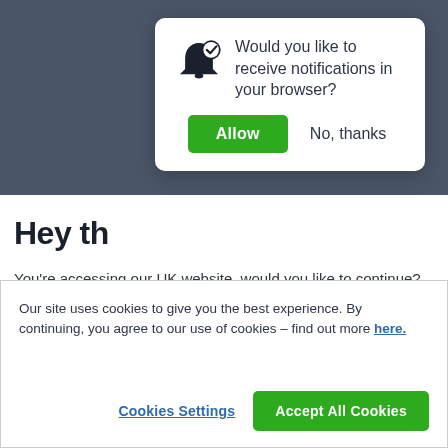[Figure (screenshot): Browser notification permission popup with bell icon asking 'Would you like to receive notifications in your browser?' with Allow and No, thanks buttons]
Hey th
You're accessing our UK website, would you like to continue?
Take me to the US site, decluttr
Our site uses cookies to give you the best experience. By continuing, you agree to our use of cookies – find out more here.
Cookies Settings
Accept All Cookies